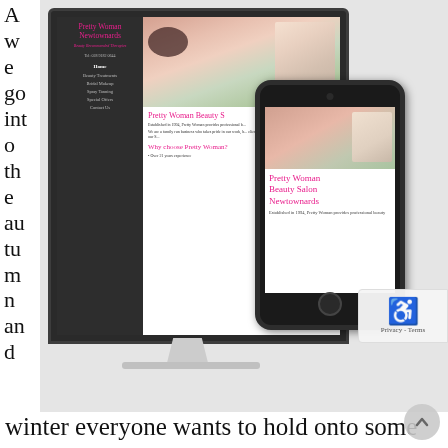A w e go int o th e au tu m n an d
[Figure (screenshot): Screenshot of Pretty Woman Newtownards beauty salon website shown on a desktop monitor and mobile phone device mockup. The website shows the salon logo in pink cursive text, navigation menu, and a massage/beauty treatment photo. The mobile phone shows the logo 'Pretty Woman Beauty Salon Newtownards' and text 'Established in 1994, Pretty Woman provides professional beauty'.]
winter everyone wants to hold onto some memories of the great summer weather (or not!), but while memories stay with us, our tans fade quickly.  In the past to keep that just back from holiday look has meant using sunbeds which not only age your skin but can also be the cause of forms of cancer.